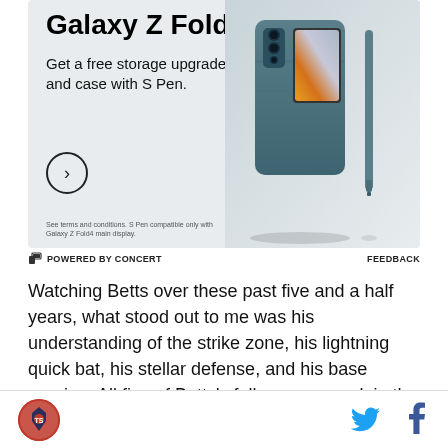[Figure (photo): Samsung Galaxy Z Fold4 advertisement. Shows the phone in a teal/slate blue case with S Pen. Text reads: Galaxy Z Fold4. Get a free storage upgrade and case with S Pen. See terms and conditions. S Pen compatible only with Galaxy Z Fold4 main display.]
POWERED BY CONCERT
FEEDBACK
Watching Betts over these past five and a half years, what stood out to me was his understanding of the strike zone, his lightning quick bat, his stellar defense, and his base running. All five of Betts's full seasons rank in the top ten of FanGraphs BsR metric in Red
[Figure (logo): Red circular logo with sports team emblem]
[Figure (logo): Twitter bird icon in cyan]
[Figure (logo): Facebook f icon in blue]